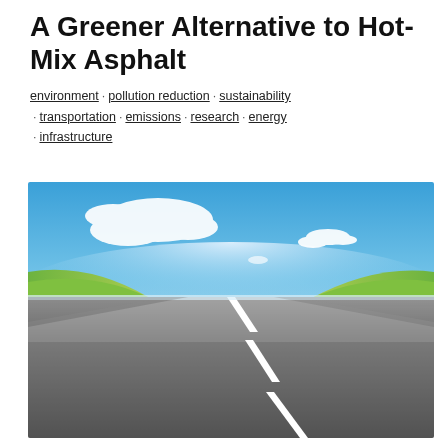A Greener Alternative to Hot-Mix Asphalt
environment · pollution reduction · sustainability · transportation · emissions · research · energy · infrastructure
[Figure (photo): A wide-angle perspective photograph of a straight asphalt road stretching to the horizon, flanked by green grass on both sides, under a bright blue sky with white clouds. The road has a white dashed center line converging at the vanishing point.]